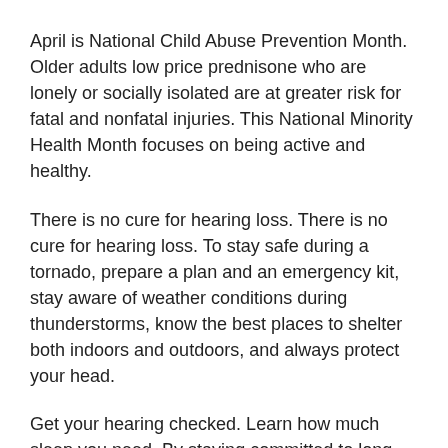April is National Child Abuse Prevention Month. Older adults low price prednisone who are lonely or socially isolated are at greater risk for fatal and nonfatal injuries. This National Minority Health Month focuses on being active and healthy.
There is no cure for hearing loss. There is no cure for hearing loss. To stay safe during a tornado, prepare a plan and an emergency kit, stay aware of weather conditions during thunderstorms, know the best places to shelter both indoors and outdoors, and always protect your head.
Get your hearing checked. Learn how much sleep you need. By staying committed to long-term treatment, people with thalassemia can enjoy a full life.
You can also learn what CDC is doing to improve the lives of people with CHDs. This National Minority Health Month